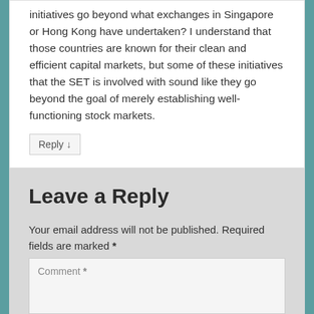initiatives go beyond what exchanges in Singapore or Hong Kong have undertaken? I understand that those countries are known for their clean and efficient capital markets, but some of these initiatives that the SET is involved with sound like they go beyond the goal of merely establishing well-functioning stock markets.
Reply ↓
Leave a Reply
Your email address will not be published. Required fields are marked *
Comment *